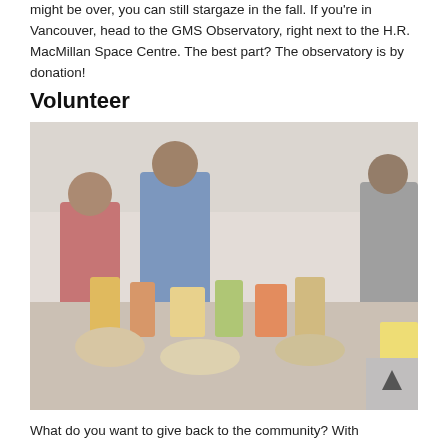might be over, you can still stargaze in the fall. If you're in Vancouver, head to the GMS Observatory, right next to the H.R. MacMillan Space Centre. The best part? The observatory is by donation!
Volunteer
[Figure (photo): Photo of volunteers working together at a food bank or similar charitable event, sorting items on a table stacked with food and other goods.]
What do you want to give back to the community? With